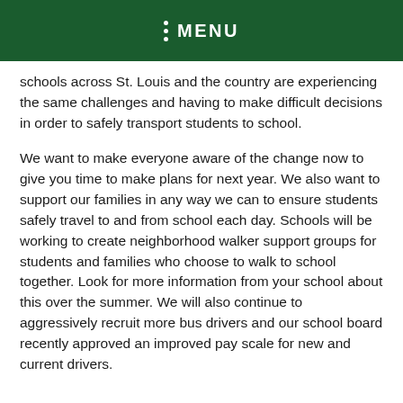MENU
schools across St. Louis and the country are experiencing the same challenges and having to make difficult decisions in order to safely transport students to school.
We want to make everyone aware of the change now to give you time to make plans for next year. We also want to support our families in any way we can to ensure students safely travel to and from school each day. Schools will be working to create neighborhood walker support groups for students and families who choose to walk to school together. Look for more information from your school about this over the summer. We will also continue to aggressively recruit more bus drivers and our school board recently approved an improved pay scale for new and current drivers.